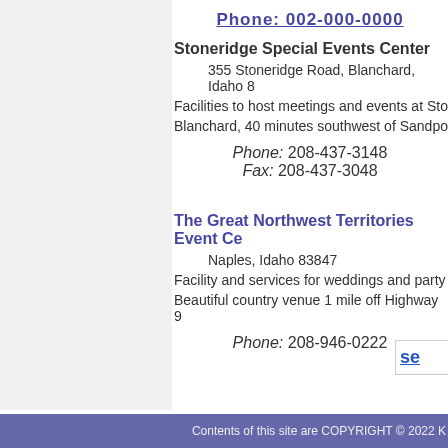Phone: 208-[number]
Stoneridge Special Events Center
355 Stoneridge Road, Blanchard, Idaho ...
Facilities to host meetings and events at Sto...
Blanchard, 40 minutes southwest of Sandpo...
Phone: 208-437-3148
Fax: 208-437-3048
The Great Northwest Territories Event Ce...
Naples, Idaho 83847
Facility and services for weddings and party...
Beautiful country venue 1 mile off Highway 9...
Phone: 208-946-0222
Contents of this site are COPYRIGHT © 2022 K...